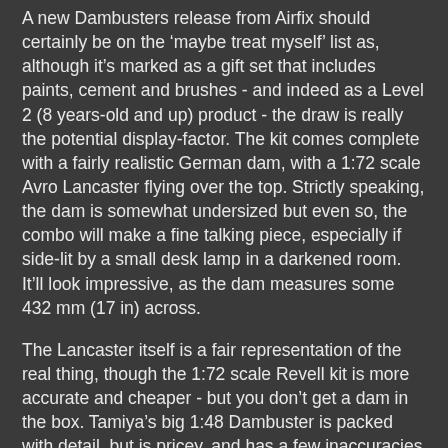A new Dambusters release from Airfix should certainly be on the 'maybe treat myself' list as, although it's marked as a gift set that includes paints, cement and brushes - and indeed as a Level 2 (8 years-old and up) product - the draw is really the potential display-factor. The kit comes complete with a fairly realistic German dam, with a 1:72 scale Avro Lancaster flying over the top. Strictly speaking, the dam is somewhat undersized but even so, the combo will make a fine talking piece, especially if side-lit by a small desk lamp in a darkened room. It'll look impressive, as the dam measures some 432 mm (17 in) across.
The Lancaster itself is a fair representation of the real thing, though the 1:72 scale Revell kit is more accurate and cheaper - but you don't get a dam in the box. Tamiya's big 1:48 Dambuster is packed with detail, but is pricey, and has a few inaccuracies too. So there's no one perfect kit, though there are aftermarket conversions available, mostly aimed at improving the Airfix kit. Your choice!
A brief afterword on packaging - congrats to Airfix on the steadily improving look and feel of its kit boxes. The latest